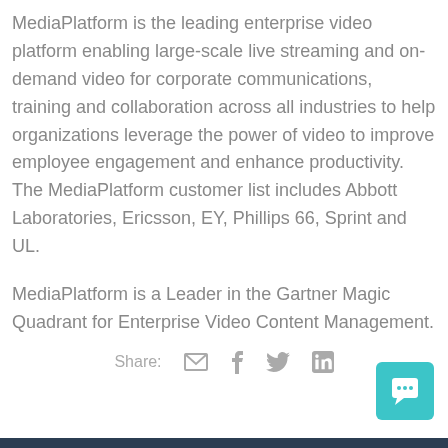MediaPlatform is the leading enterprise video platform enabling large-scale live streaming and on-demand video for corporate communications, training and collaboration across all industries to help organizations leverage the power of video to improve employee engagement and enhance productivity. The MediaPlatform customer list includes Abbott Laboratories, Ericsson, EY, Phillips 66, Sprint and UL.
MediaPlatform is a Leader in the Gartner Magic Quadrant for Enterprise Video Content Management.
Share:
[Figure (other): Chat widget button (teal rounded square with speech bubble icon) in bottom right corner]